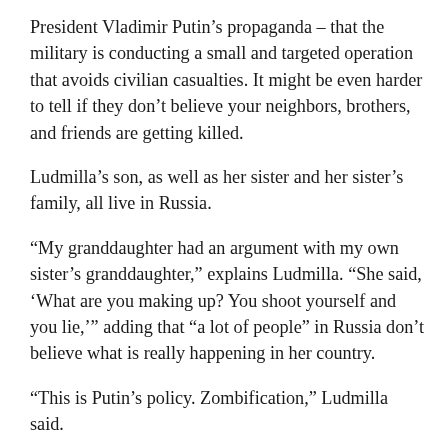President Vladimir Putin’s propaganda – that the military is conducting a small and targeted operation that avoids civilian casualties. It might be even harder to tell if they don’t believe your neighbors, brothers, and friends are getting killed.
Ludmilla’s son, as well as her sister and her sister’s family, all live in Russia.
“My granddaughter had an argument with my own sister’s granddaughter,” explains Ludmilla. “She said, ‘What are you making up? You shoot yourself and you lie,’” adding that “a lot of people” in Russia don’t believe what is really happening in her country.
“This is Putin’s policy. Zombification,” Ludmilla said.
Whether Russia can conquer all of Donbas – the eastern